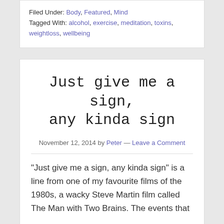Filed Under: Body, Featured, Mind
Tagged With: alcohol, exercise, meditation, toxins, weightloss, wellbeing
Just give me a sign, any kinda sign
November 12, 2014 by Peter — Leave a Comment
"Just give me a sign, any kinda sign" is a line from one of my favourite films of the 1980s, a wacky Steve Martin film called The Man with Two Brains. The events that